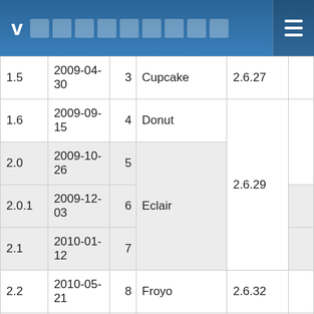v [redacted title] ☰
| Version | Date | API | Codename | Kernel |  |
| --- | --- | --- | --- | --- | --- |
| 1.5 | 2009-04-30 | 3 | Cupcake | 2.6.27 |  |
| 1.6 | 2009-09-15 | 4 | Donut | 2.6.29 |  |
| 2.0 | 2009-10-26 | 5 | Eclair | 2.6.29 |  |
| 2.0.1 | 2009-12-03 | 6 | Eclair | 2.6.29 |  |
| 2.1 | 2010-01-12 | 7 | Eclair | 2.6.29 |  |
| 2.2 | 2010-05-21 | 8 | Froyo | 2.6.32 |  |
| 2.3 | 2010-12-06 | 9 | Gingerbread | 2.6.35 |  |
| 2.3.3 | 2011-02-09 | 10 | Gingerbread | 2.6.35 |  |